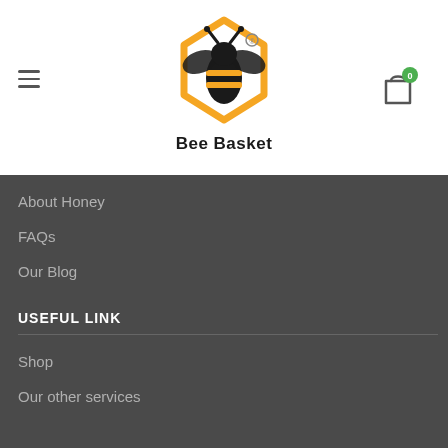[Figure (logo): Bee Basket logo with a bee illustration in black and yellow/orange]
Bee Basket
About Honey
FAQs
Our Blog
USEFUL LINK
Shop
Our other services